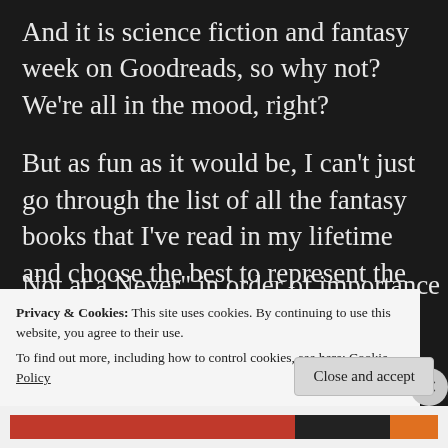And it is science fiction and fantasy week on Goodreads, so why not? We’re all in the mood, right?
But as fun as it would be, I can’t just go through the list of all the fantasy books that I’ve read in my lifetime and choose the best to represent the genre. This post would never get finished. So I’m limiting myself to 10 “To Read” and 5 “To Not at a Never” in order of importance of magic
Privacy & Cookies: This site uses cookies. By continuing to use this website, you agree to their use.
To find out more, including how to control cookies, see here: Cookie Policy
Close and accept